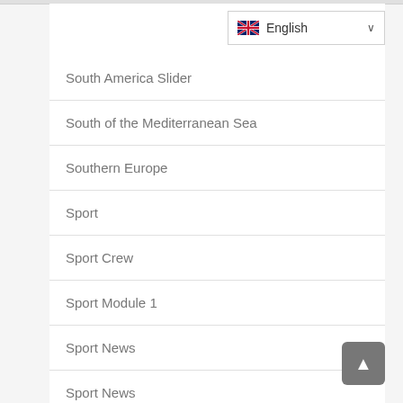South America Slider
South of the Mediterranean Sea
Southern Europe
Sport
Sport Crew
Sport Module 1
Sport News
Sport News
Sport Slider
Sport Soccer